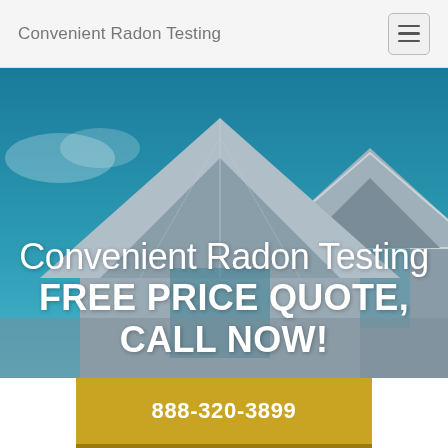Convenient Radon Testing
[Figure (photo): Aerial view of house rooftops with gabled peaks against a blue sky background]
Convenient Radon Testing FREE PRICE QUOTE, CALL NOW!
888-320-3899